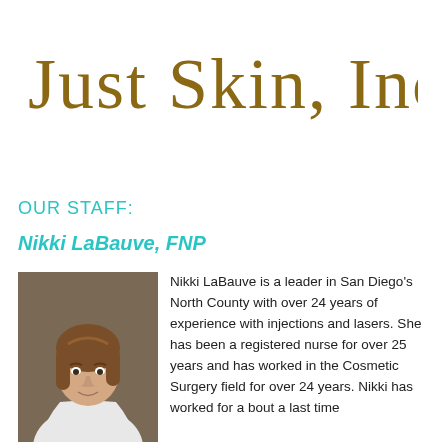[Figure (logo): Just Skin, Inc. logo in cursive gold/brown handwriting style]
OUR STAFF:
Nikki LaBauve, FNP
[Figure (photo): Headshot photo of Nikki LaBauve, a woman with brown hair wearing a white blazer]
Nikki LaBauve is a leader in San Diego's North County with over 24 years of experience with injections and lasers. She has been a registered nurse for over 25 years and has worked in the Cosmetic Surgery field for over 24 years. Nikki has worked for a bout a last time